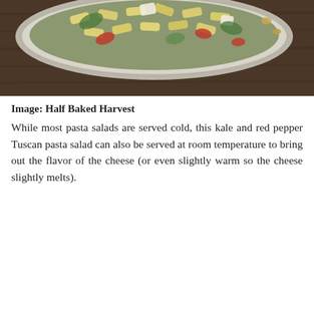[Figure (photo): A bowl of kale and red pepper Tuscan pasta salad with penne pasta, vegetables, and cheese, photographed from above on a dark wooden surface.]
Image: Half Baked Harvest
While most pasta salads are served cold, this kale and red pepper Tuscan pasta salad can also be served at room temperature to bring out the flavor of the cheese (or even slightly warm so the cheese slightly melts).